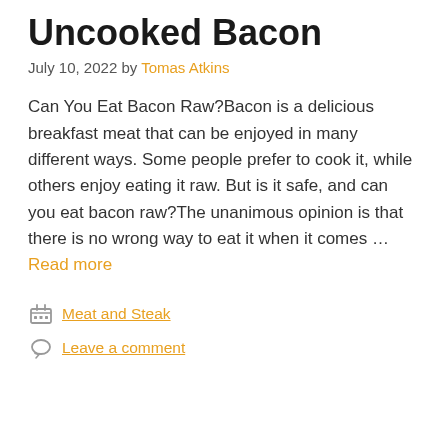Uncooked Bacon
July 10, 2022 by Tomas Atkins
Can You Eat Bacon Raw?Bacon is a delicious breakfast meat that can be enjoyed in many different ways. Some people prefer to cook it, while others enjoy eating it raw. But is it safe, and can you eat bacon raw?The unanimous opinion is that there is no wrong way to eat it when it comes … Read more
Meat and Steak
Leave a comment